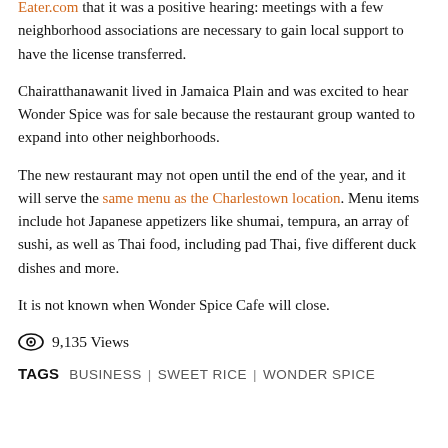Eater.com that it was a positive hearing: meetings with a few neighborhood associations are necessary to gain local support to have the license transferred.
Chairatthanawanit lived in Jamaica Plain and was excited to hear Wonder Spice was for sale because the restaurant group wanted to expand into other neighborhoods.
The new restaurant may not open until the end of the year, and it will serve the same menu as the Charlestown location. Menu items include hot Japanese appetizers like shumai, tempura, an array of sushi, as well as Thai food, including pad Thai, five different duck dishes and more.
It is not known when Wonder Spice Cafe will close.
9,135 Views
TAGS BUSINESS | SWEET RICE | WONDER SPICE